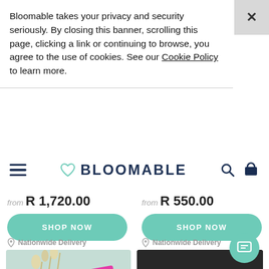Bloomable takes your privacy and security seriously. By closing this banner, scrolling this page, clicking a link or continuing to browse, you agree to the use of cookies. See our Cookie Policy to learn more.
[Figure (screenshot): Bloomable e-commerce website navigation bar with hamburger menu, heart-logo and BLOOMABLE brand name, search and cart icons]
from R 1,720.00
SHOP NOW
from R 550.00
SHOP NOW
Nationwide Delivery
[Figure (photo): Gift box with dried flowers, a pink card, and small circular items on a teal background]
Nationwide Delivery
[Figure (photo): Dark background gift box with straw filling containing Nuby rainbow products, colorful packaging]